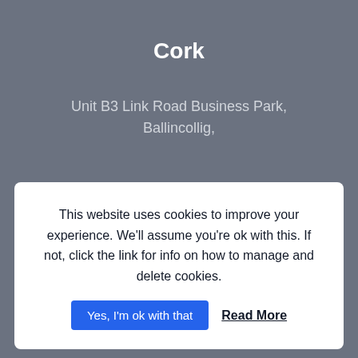Cork
Unit B3 Link Road Business Park,
Ballincollig,
This website uses cookies to improve your experience. We'll assume you're ok with this. If not, click the link for info on how to manage and delete cookies.
Yes, I'm ok with that    Read More
9-11 Upper William Street,
Limerick, V94 K702
Phone: (061) 469306